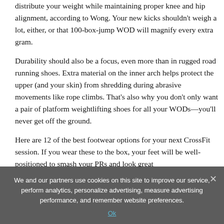distribute your weight while maintaining proper knee and hip alignment, according to Wong. Your new kicks shouldn't weigh a lot, either, or that 100-box-jump WOD will magnify every extra gram.
Durability should also be a focus, even more than in rugged road running shoes. Extra material on the inner arch helps protect the upper (and your skin) from shredding during abrasive movements like rope climbs. That's also why you don't only want a pair of platform weightlifting shoes for all your WODs—you'll never get off the ground.
Here are 12 of the best footwear options for your next CrossFit session. If you wear these to the box, your feet will be well-positioned to smash your PRs and look great
We and our partners use cookies on this site to improve our service, perform analytics, personalize advertising, measure advertising performance, and remember website preferences.
Ok